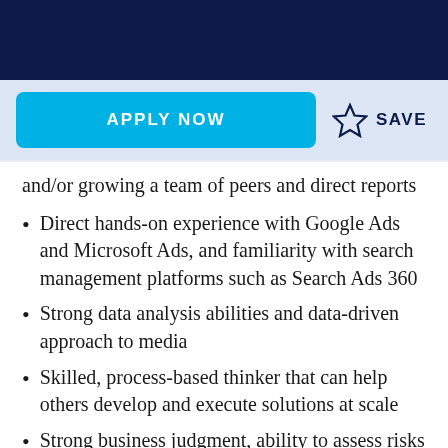APPLY NOW | SAVE
and/or growing a team of peers and direct reports
Direct hands-on experience with Google Ads and Microsoft Ads, and familiarity with search management platforms such as Search Ads 360
Strong data analysis abilities and data-driven approach to media
Skilled, process-based thinker that can help others develop and execute solutions at scale
Strong business judgment, ability to assess risks and prioritize based on impact
Excellent verbal and written